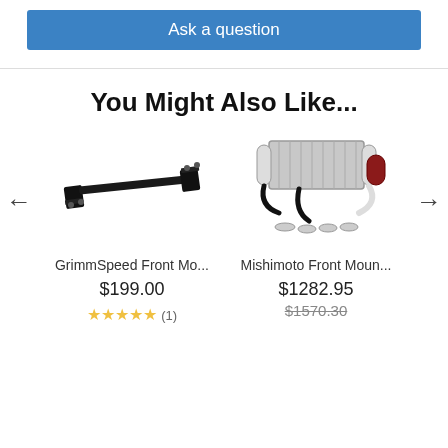Ask a question
You Might Also Like...
[Figure (photo): GrimmSpeed Front Mount strut brace, black metal bar with mounting brackets]
GrimmSpeed Front Mo...
$199.00
★★★★★ (1)
[Figure (photo): Mishimoto Front Mount intercooler kit with pipes and hoses, silver and black]
Mishimoto Front Moun...
$1282.95
$1570.30